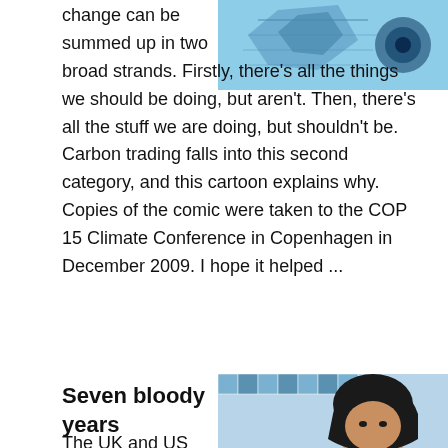[Figure (illustration): Cartoon/comic illustration with blue geometric background and decorative element, top right]
change can be summed up in two broad strands. Firstly, there's all the things we should be doing, but aren't. Then, there's all the stuff we are doing, but shouldn't be. Carbon trading falls into this second category, and this cartoon explains why. Copies of the comic were taken to the COP 15 Climate Conference in Copenhagen in December 2009. I hope it helped ...
Read More
Seven bloody years
The UK and US occupation of Iraq. An unfinished project ...
[Figure (illustration): Comic-style illustration of a woman with dark hair against blue patterned tile background]